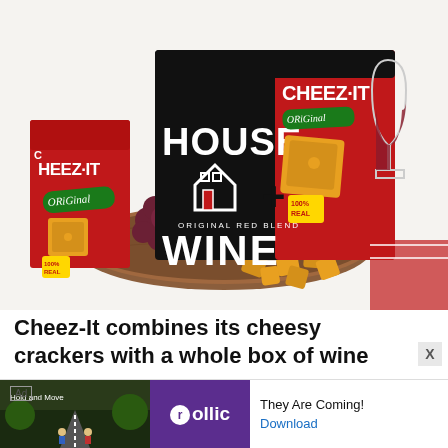[Figure (photo): Product photo showing Cheez-It Original boxes and a House Wine Original Red Blend box collaboration, with grapes and Cheez-It crackers on a wooden board, and a glass of red wine on a white background.]
Cheez-It combines its cheesy crackers with a whole box of wine
[Figure (other): Advertisement banner: Ad label, game screenshot thumbnail, Rollic logo in purple, text 'They Are Coming!' and 'Download' link.]